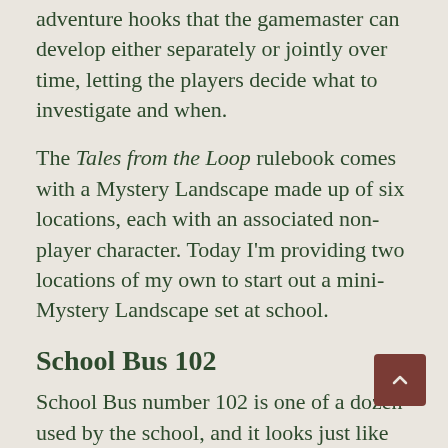adventure hooks that the gamemaster can develop either separately or jointly over time, letting the players decide what to investigate and when.
The Tales from the Loop rulebook comes with a Mystery Landscape made up of six locations, each with an associated non-player character. Today I'm providing two locations of my own to start out a mini-Mystery Landscape set at school.
School Bus 102
School Bus number 102 is one of a dozen used by the school, and it looks just like the